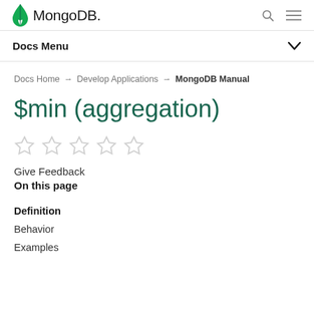MongoDB — Docs Menu
Docs Home → Develop Applications → MongoDB Manual
$min (aggregation)
[Figure (other): 5 empty star rating icons]
Give Feedback
On this page
Definition
Behavior
Examples